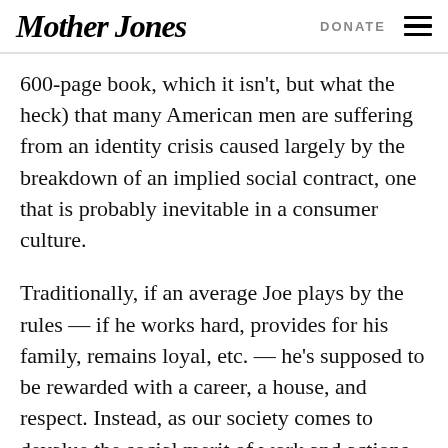Mother Jones | DONATE
600-page book, which it isn't, but what the heck) that many American men are suffering from an identity crisis caused largely by the breakdown of an implied social contract, one that is probably inevitable in a consumer culture.
Traditionally, if an average Joe plays by the rules — if he works hard, provides for his family, remains loyal, etc. — he's supposed to be rewarded with a career, a house, and respect. Instead, as our society comes to devalue the social merit of work and actions of its members (of both genders), emphasizing wealth as an end instead of a means, modern manhood has (like everything else) become